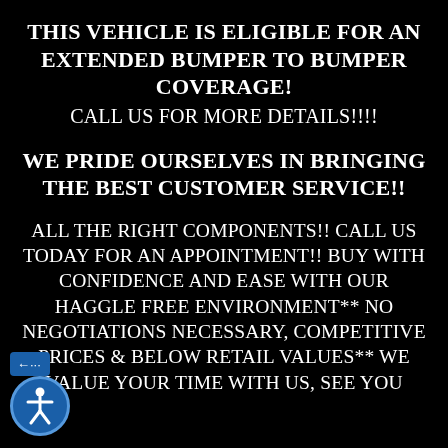THIS VEHICLE IS ELIGIBLE FOR AN EXTENDED BUMPER TO BUMPER COVERAGE!
CALL US FOR MORE DETAILS!!!!
WE PRIDE OURSELVES IN BRINGING THE BEST CUSTOMER SERVICE!!
ALL THE RIGHT COMPONENTS!! CALL US TODAY FOR AN APPOINTMENT!! BUY WITH CONFIDENCE AND EASE WITH OUR HAGGLE FREE ENVIRONMENT** NO NEGOTIATIONS NECESSARY, COMPETITIVE PRICES & BELOW RETAIL VALUES** WE VALUE YOUR TIME WITH US, SEE YOU